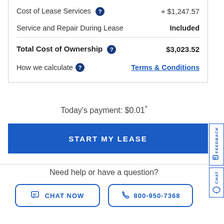| Item | Value |
| --- | --- |
| Cost of Lease Services | + $1,247.57 |
| Service and Repair During Lease | Included |
| Total Cost of Ownership | $3,023.52 |
| How we calculate | Terms & Conditions |
Today's payment: $0.01*
START MY LEASE
Need help or have a question?
CHAT NOW
800-950-7368